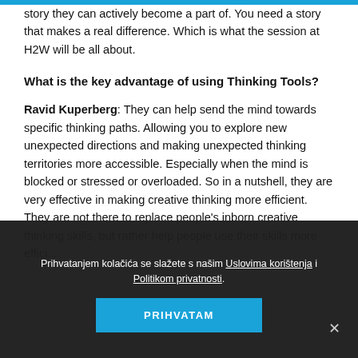story they can actively become a part of. You need a story that makes a real difference. Which is what the session at H2W will be all about.
What is the key advantage of using Thinking Tools?
Ravid Kuperberg: They can help send the mind towards specific thinking paths. Allowing you to explore new unexpected directions and making unexpected thinking territories more accessible. Especially when the mind is blocked or stressed or overloaded. So in a nutshell, they are very effective in making creative thinking more efficient. They are not there to replace people's inborn creative thinking skills, but rather help people use their skills more effici...
Prihvatanjem kolačića se slažete s našim Uslovima korištenja i Politikom privatnosti.